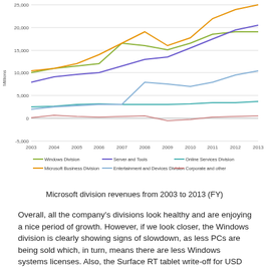[Figure (line-chart): Microsoft division revenues from 2003 to 2013 (FY)]
Microsoft division revenues from 2003 to 2013 (FY)
Overall, all the company's divisions look healthy and are enjoying a nice period of growth. However, if we look closer, the Windows division is clearly showing signs of slowdown, as less PCs are being sold which, in turn, means there are less Windows systems licenses. Also, the Surface RT tablet write-off for USD 900 millions hasn't helped.